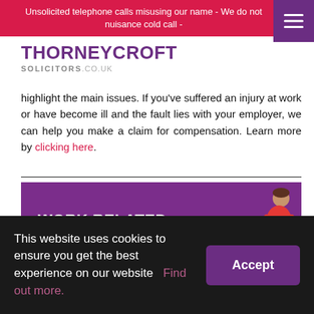Unsolicited telephone calls misusing our name - We do not nuisance cold call -
[Figure (logo): Thorneycroft Solicitors logo with purple text]
highlight the main issues. If you've suffered an injury at work or have become ill and the fault lies with your employer, we can help you make a claim for compensation. Learn more by clicking here.
[Figure (infographic): Purple banner with white bold text reading 'WORK RELATED ILLNESS & INJURY:' and an illustration of a person on crutches]
This website uses cookies to ensure you get the best experience on our website  Find out more.